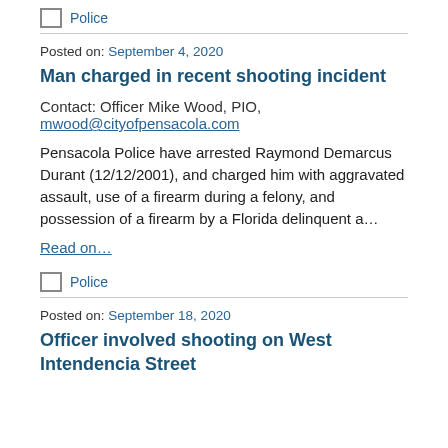[Figure (illustration): Police category icon (small square/box icon) with label 'Police' partially visible at top]
Posted on: September 4, 2020
Man charged in recent shooting incident
Contact: Officer Mike Wood, PIO, mwood@cityofpensacola.com
Pensacola Police have arrested Raymond Demarcus Durant (12/12/2001), and charged him with aggravated assault, use of a firearm during a felony, and possession of a firearm by a Florida delinquent a...
Read on...
[Figure (illustration): Police category icon (small square/box icon) with label 'Police']
Posted on: September 18, 2020
Officer involved shooting on West Intendencia Street